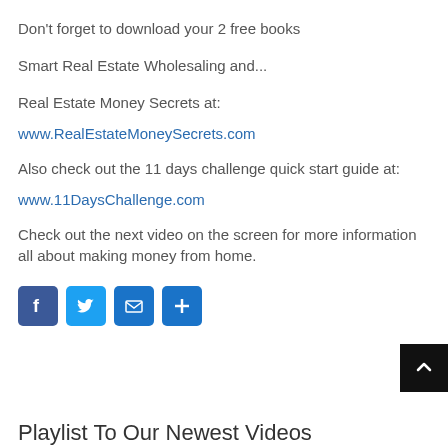Don't forget to download your 2 free books
Smart Real Estate Wholesaling and...
Real Estate Money Secrets at:
www.RealEstateMoneySecrets.com
Also check out the 11 days challenge quick start guide at:
www.11DaysChallenge.com
Check out the next video on the screen for more information all about making money from home.
[Figure (other): Social share buttons: Facebook, Twitter, Email, Plus/Share]
Playlist To Our Newest Videos